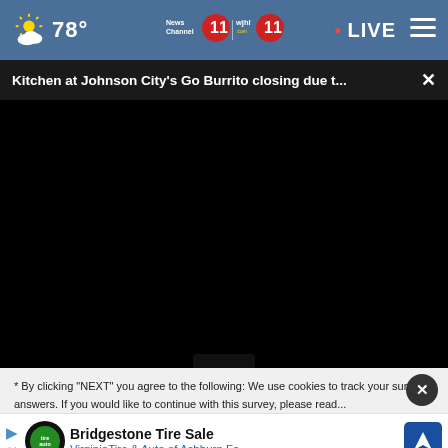78° | News Channel 11 WJHL.com 11 | LIVE
Kitchen at Johnson City's Go Burrito closing due t...  ×
[Figure (screenshot): Black video player area with bottom thumbnail strip]
* By clicking "NEXT" you agree to the following: We use cookies to track your survey answers. If you would like to continue with this survey, please read...
Bridgestone Tire Sale
VirginiaTire & Auto of Ashburn Fa.